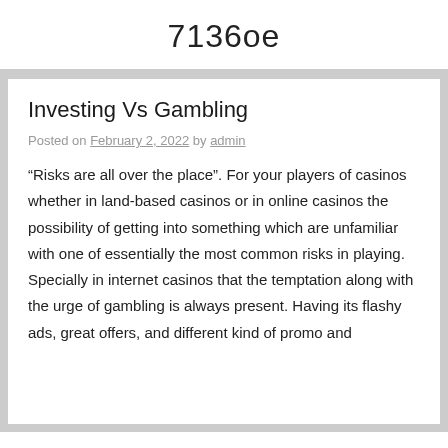7136oe
Investing Vs Gambling
Posted on February 2, 2022 by admin
“Risks are all over the place”. For your players of casinos whether in land-based casinos or in online casinos the possibility of getting into something which are unfamiliar with one of essentially the most common risks in playing. Specially in internet casinos that the temptation along with the urge of gambling is always present. Having its flashy ads, great offers, and different kind of promo and